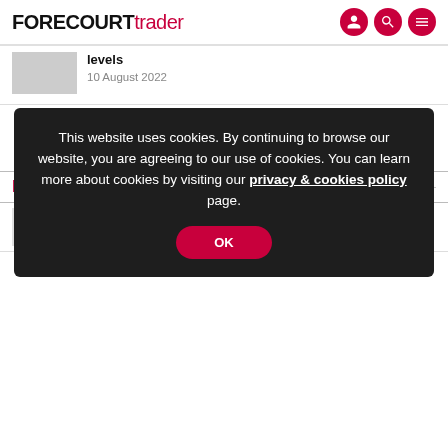FORECOURT trader
levels
10 August 2022
LOAD MORE ARTICLES
This website uses cookies. By continuing to browse our website, you are agreeing to our use of cookies. You can learn more about cookies by visiting our privacy & cookies policy page.
OK
M